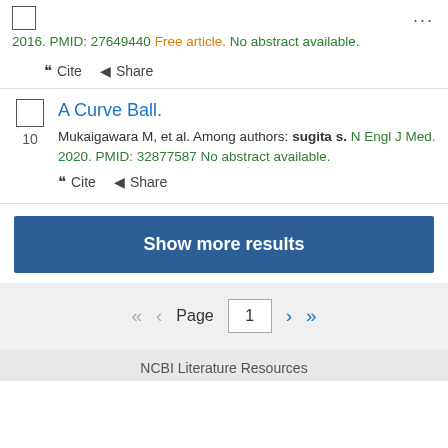2016. PMID: 27649440 Free article. No abstract available.
Cite  Share
A Curve Ball.
Mukaigawara M, et al. Among authors: sugita s. N Engl J Med. 2020. PMID: 32877587 No abstract available.
Cite  Share
Show more results
Page 1
NCBI Literature Resources